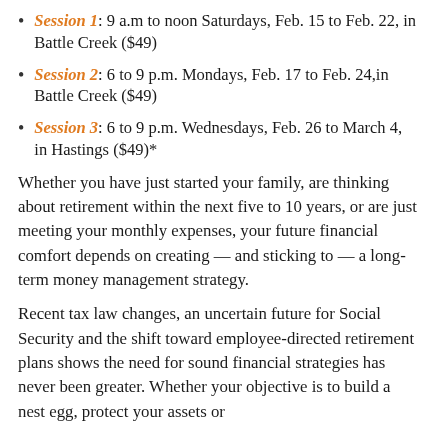Session 1: 9 a.m to noon Saturdays, Feb. 15 to Feb. 22, in Battle Creek ($49)
Session 2: 6 to 9 p.m. Mondays, Feb. 17 to Feb. 24,in Battle Creek ($49)
Session 3: 6 to 9 p.m. Wednesdays, Feb. 26 to March 4, in Hastings ($49)*
Whether you have just started your family, are thinking about retirement within the next five to 10 years, or are just meeting your monthly expenses, your future financial comfort depends on creating — and sticking to — a long-term money management strategy.
Recent tax law changes, an uncertain future for Social Security and the shift toward employee-directed retirement plans shows the need for sound financial strategies has never been greater. Whether your objective is to build a nest egg, protect your assets or